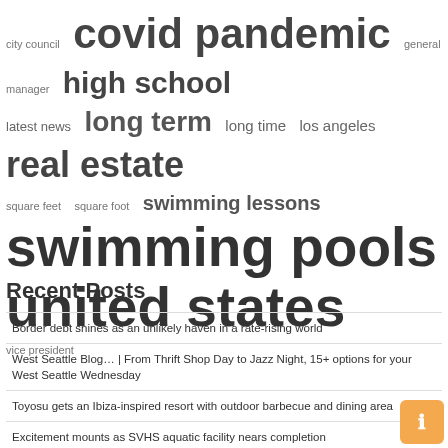[Figure (infographic): Word cloud with terms of varying sizes: city council, covid pandemic, general manager, high school, latest news, long term, long time, los angeles, real estate, square feet, square foot, swimming lessons, swimming pools, united states, vice president]
Recent Posts
Border debt shines as an unlikely haven in a rate-rising world
West Seattle Blog… | From Thrift Shop Day to Jazz Night, 15+ options for your West Seattle Wednesday
Toyosu gets an Ibiza-inspired resort with outdoor barbecue and dining area
Excitement mounts as SVHS aquatic facility nears completion
Butterfly, Nebraska 2020
Contrast Austerlitz Acquisition Co. I (NYSE:AUS) and Hall of Fame Resort & Entertainment (NASDAQ:HOFV)